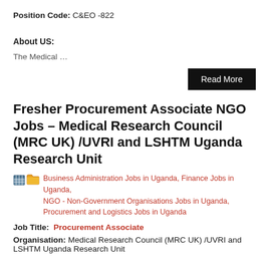Position Code: C&EO -822
About US:
The Medical …
Read More
Fresher Procurement Associate NGO Jobs – Medical Research Council (MRC UK) /UVRI and LSHTM Uganda Research Unit
Business Administration Jobs in Uganda, Finance Jobs in Uganda, NGO - Non-Government Organisations Jobs in Uganda, Procurement and Logistics Jobs in Uganda
Job Title: Procurement Associate
Organisation: Medical Research Council (MRC UK) /UVRI and LSHTM Uganda Research Unit